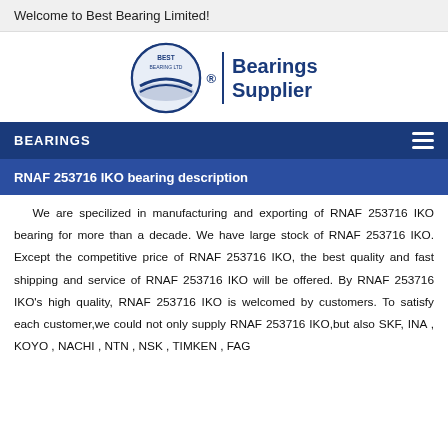Welcome to Best Bearing Limited!
[Figure (logo): Best Bearing Limited logo with circular emblem and 'Bearings Supplier' text]
BEARINGS
RNAF 253716 IKO bearing description
We are specilized in manufacturing and exporting of RNAF 253716 IKO bearing for more than a decade. We have large stock of RNAF 253716 IKO. Except the competitive price of RNAF 253716 IKO, the best quality and fast shipping and service of RNAF 253716 IKO will be offered. By RNAF 253716 IKO's high quality, RNAF 253716 IKO is welcomed by customers. To satisfy each customer,we could not only supply RNAF 253716 IKO,but also SKF, INA , KOYO , NACHI , NTN , NSK , TIMKEN , FAG